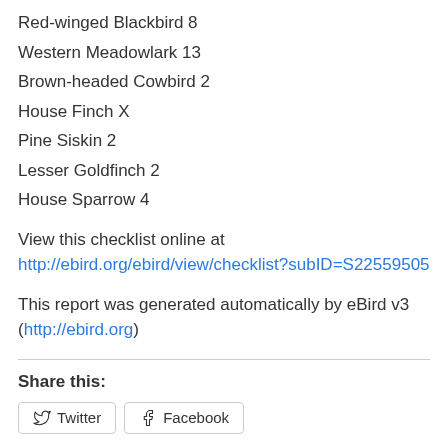Red-winged Blackbird 8
Western Meadowlark 13
Brown-headed Cowbird 2
House Finch X
Pine Siskin 2
Lesser Goldfinch 2
House Sparrow 4
View this checklist online at http://ebird.org/ebird/view/checklist?subID=S22559505
This report was generated automatically by eBird v3 (http://ebird.org)
Share this:
Twitter  Facebook